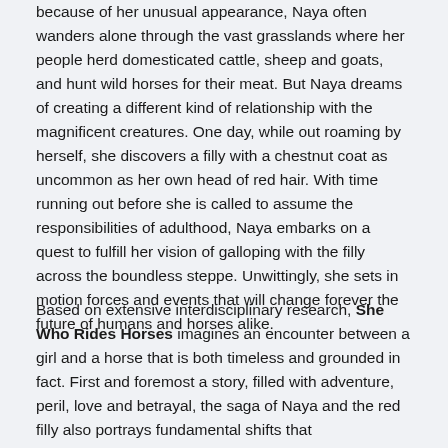because of her unusual appearance, Naya often wanders alone through the vast grasslands where her people herd domesticated cattle, sheep and goats, and hunt wild horses for their meat. But Naya dreams of creating a different kind of relationship with the magnificent creatures. One day, while out roaming by herself, she discovers a filly with a chestnut coat as uncommon as her own head of red hair. With time running out before she is called to assume the responsibilities of adulthood, Naya embarks on a quest to fulfill her vision of galloping with the filly across the boundless steppe. Unwittingly, she sets in motion forces and events that will change forever the future of humans and horses alike.
Based on extensive interdisciplinary research, She Who Rides Horses imagines an encounter between a girl and a horse that is both timeless and grounded in fact. First and foremost a story, filled with adventure, peril, love and betrayal, the saga of Naya and the red filly also portrays fundamental shifts that